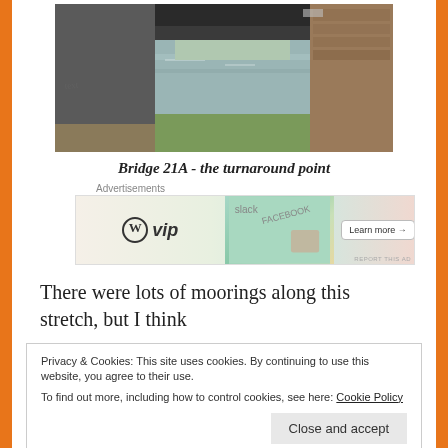[Figure (photo): Photograph of Bridge 21A showing a canal running underneath a steel/concrete railway bridge with brick support pillars, green vegetation visible on the right bank]
Bridge 21A - the turnaround point
[Figure (screenshot): WordPress VIP advertisement banner with WordPress logo, colorful background with social media icons, and a Learn more button]
There were lots of moorings along this stretch, but I think
Privacy & Cookies: This site uses cookies. By continuing to use this website, you agree to their use.
To find out more, including how to control cookies, see here: Cookie Policy
[Figure (photo): Partial photo visible at bottom of page showing green trees and what appears to be a red vehicle or boat]